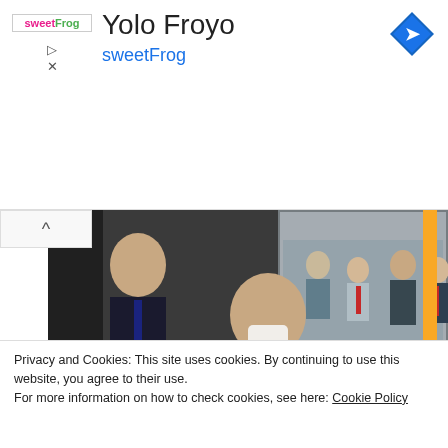[Figure (screenshot): Advertisement banner for sweetFrog frozen yogurt with title 'Yolo Froyo', sweetFrog logo, play and close icons on the left, and a blue diamond navigation arrow icon on the right]
[Figure (photo): Photograph of a man in a dark suit and red tie wearing a white face mask, interacting with a bus payment terminal. Other people in suits are visible through the bus window in the background.]
Privacy and Cookies: This site uses cookies. By continuing to use this website, you agree to their use.
For more information on how to check cookies, see here: Cookie Policy
OK
Kayseri Metropolitan Municipality Transportation Inc